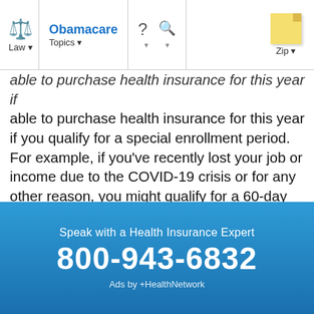Law | Obamacare Topics | ? | Search | Zip
able to purchase health insurance for this year if you qualify for a special enrollment period. For example, if you've recently lost your job or income due to the COVID-19 crisis or for any other reason, you might qualify for a 60-day special enrollment period that will allow you to sign up for a new health insurance plan. (See What Happens If I Missed the Enrollment Deadline for 2022?)
To get covered, you can go directly to the online
Speak with a Health Insurance Expert
800-943-6832
Ads by +HealthNetwork